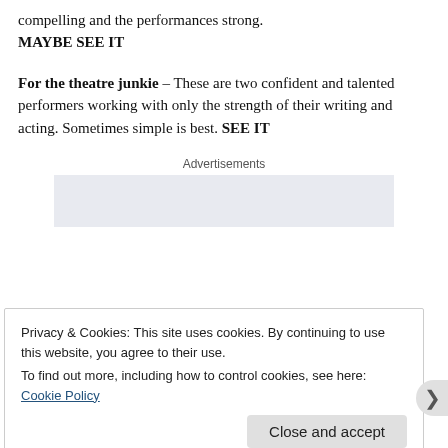compelling and the performances strong. MAYBE SEE IT
For the theatre junkie – These are two confident and talented performers working with only the strength of their writing and acting. Sometimes simple is best. SEE IT
Advertisements
Privacy & Cookies: This site uses cookies. By continuing to use this website, you agree to their use.
To find out more, including how to control cookies, see here:
Cookie Policy
Close and accept